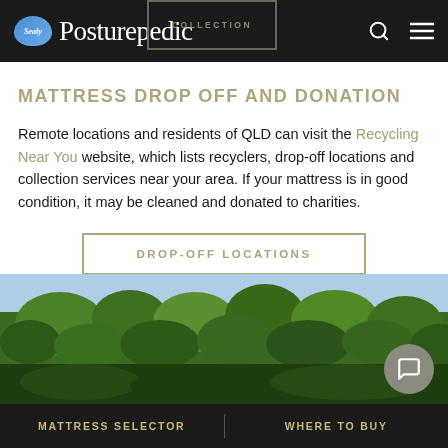Sealy Posturepedic COLLECTION
MATTRESS DROP OFF AND DONATION
Remote locations and residents of QLD can visit the Recycling Near You website, which lists recyclers, drop-off locations and collection services near your area. If your mattress is in good condition, it may be cleaned and donated to charities.
[Figure (screenshot): DROP-OFF LOCATIONS button with tan/gold border]
[Figure (photo): Outdoor photo of green trees against a blue sky]
MATTRESS SELECTOR | WHERE TO BUY